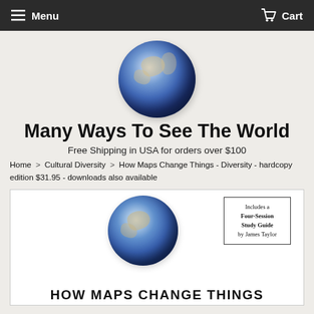Menu   Cart
[Figure (illustration): Globe/Earth photo from space, centered at top of page]
Many Ways To See The World
Free Shipping in USA for orders over $100
Home > Cultural Diversity > How Maps Change Things - Diversity - hardcopy edition $31.95 - downloads also available
[Figure (illustration): Book cover preview showing globe image and text 'HOW MAPS CHANGE THINGS' with a study guide box reading 'Includes a Four-Session Study Guide by James Taylor']